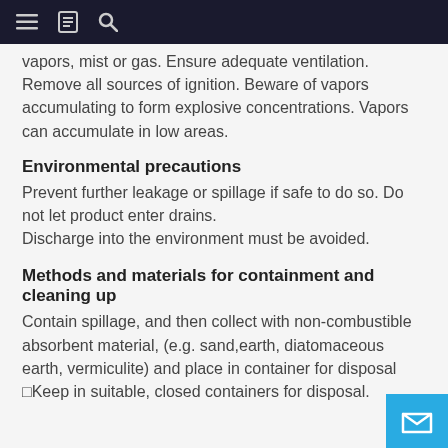≡  [book icon]  🔍
vapors, mist or gas. Ensure adequate ventilation. Remove all sources of ignition. Beware of vapors accumulating to form explosive concentrations. Vapors can accumulate in low areas.
Environmental precautions
Prevent further leakage or spillage if safe to do so. Do not let product enter drains.
Discharge into the environment must be avoided.
Methods and materials for containment and cleaning up
Contain spillage, and then collect with non-combustible absorbent material, (e.g. sand,earth, diatomaceous earth, vermiculite) and place in container for disposal □Keep in suitable, closed containers for disposal.